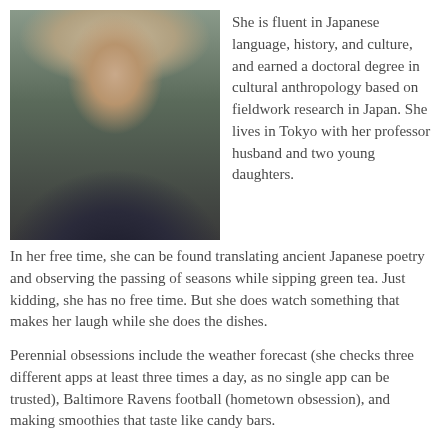[Figure (photo): A woman with blonde hair wearing a dark navy/black lace top, photographed outdoors with a blurred green background.]
She is fluent in Japanese language, history, and culture, and earned a doctoral degree in cultural anthropology based on fieldwork research in Japan. She lives in Tokyo with her professor husband and two young daughters. In her free time, she can be found translating ancient Japanese poetry and observing the passing of seasons while sipping green tea. Just kidding, she has no free time. But she does watch something that makes her laugh while she does the dishes.
Perennial obsessions include the weather forecast (she checks three different apps at least three times a day, as no single app can be trusted), Baltimore Ravens football (hometown obsession), and making smoothies that taste like candy bars.